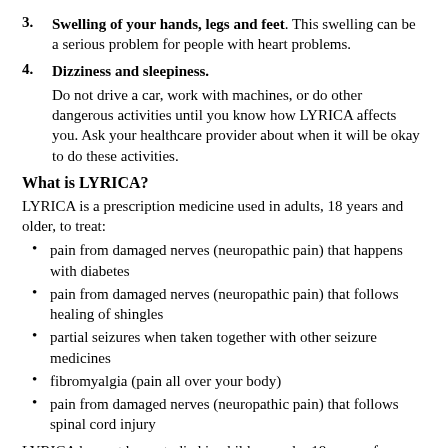3. Swelling of your hands, legs and feet. This swelling can be a serious problem for people with heart problems.
4. Dizziness and sleepiness.
Do not drive a car, work with machines, or do other dangerous activities until you know how LYRICA affects you. Ask your healthcare provider about when it will be okay to do these activities.
What is LYRICA?
LYRICA is a prescription medicine used in adults, 18 years and older, to treat:
pain from damaged nerves (neuropathic pain) that happens with diabetes
pain from damaged nerves (neuropathic pain) that follows healing of shingles
partial seizures when taken together with other seizure medicines
fibromyalgia (pain all over your body)
pain from damaged nerves (neuropathic pain) that follows spinal cord injury
LYRICA has not been studied in children under 18 years of age.